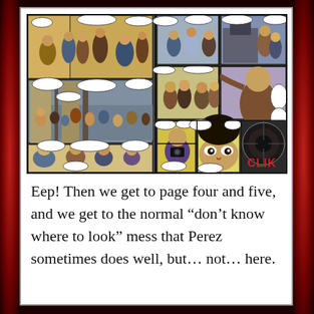[Figure (illustration): A two-page comic book spread showing multiple panels with crowd scenes, characters in a marketplace or street setting. Bottom right panel shows a close-up of a camera with the word 'CLIK' in red lettering.]
Eep! Then we get to page four and five, and we get to the normal “don’t know where to look” mess that Perez sometimes does well, but… not… here.